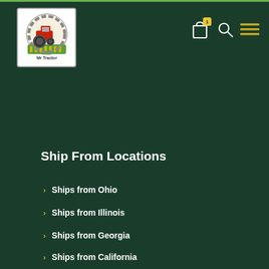Mr Tractor logo navigation header with shopping bag (badge: 1), search, and menu icons
Ship From Locations
Ships from Ohio
Ships from Illinois
Ships from Georgia
Ships from California
RGA Required for All Returns